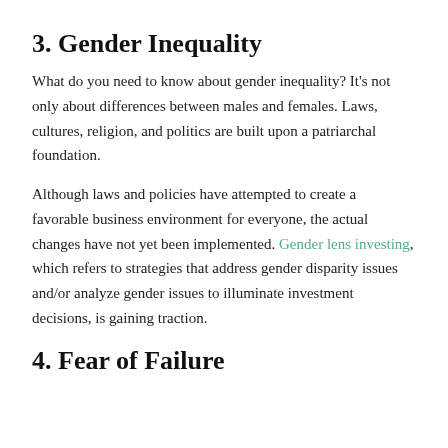3. Gender Inequality
What do you need to know about gender inequality? It’s not only about differences between males and females. Laws, cultures, religion, and politics are built upon a patriarchal foundation.
Although laws and policies have attempted to create a favorable business environment for everyone, the actual changes have not yet been implemented. Gender lens investing, which refers to strategies that address gender disparity issues and/or analyze gender issues to illuminate investment decisions, is gaining traction.
4. Fear of Failure